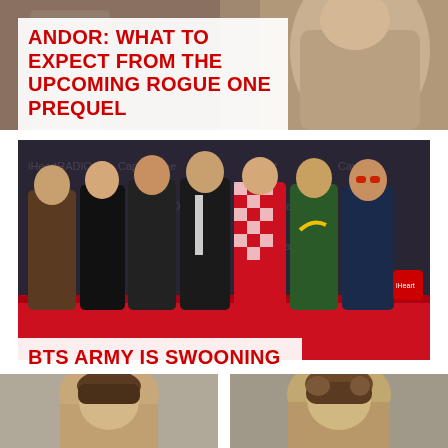[Figure (photo): Top portion of a photo showing a person in a tan/brown coat from behind or side, with muted background]
ANDOR: WHAT TO EXPECT FROM THE UPCOMING ROGUE ONE PREQUEL
[Figure (photo): BTS K-pop group posing at an iHeartRadio event on a red carpet, seven members in colorful outfits]
BTS ARMY IS SWOONING OVER THE RETURN OF RUN BTS
[Figure (photo): Bottom left photo: cropped head/upper body of a person with brown hair]
[Figure (photo): Bottom right photo: cropped head/upper body of a person with brown wavy hair]